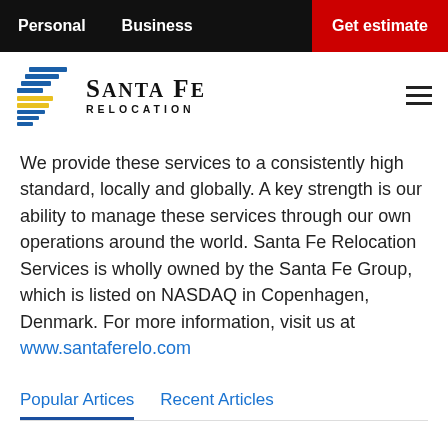Personal   Business   Get estimate
[Figure (logo): Santa Fe Relocation logo with stylized blue and yellow bird/arrow icon and company name]
We provide these services to a consistently high standard, locally and globally. A key strength is our ability to manage these services through our own operations around the world. Santa Fe Relocation Services is wholly owned by the Santa Fe Group, which is listed on NASDAQ in Copenhagen, Denmark. For more information, visit us at www.santaferelo.com
Popular Artices   Recent Articles